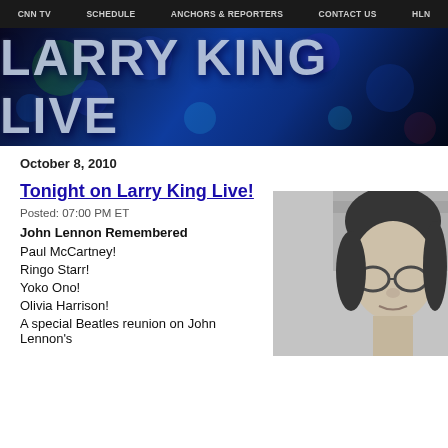CNN TV | SCHEDULE | ANCHORS & REPORTERS | CONTACT US | HLN
[Figure (illustration): Larry King Live banner with large bold white/silver text on a dark blue bokeh background]
October 8, 2010
Tonight on Larry King Live!
Posted: 07:00 PM ET
John Lennon Remembered
Paul McCartney!
Ringo Starr!
Yoko Ono!
Olivia Harrison!
A special Beatles reunion on John Lennon's
[Figure (photo): Black and white photo of John Lennon wearing round glasses, partial view]